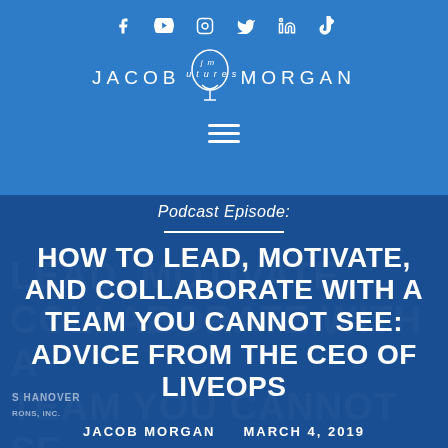[Figure (logo): Jacob Morgan website header with social media icons (Facebook, YouTube, Instagram, Twitter, LinkedIn, TikTok), Jacob Morgan logo with lightbulb, and hamburger menu]
Podcast Episode:
HOW TO LEAD, MOTIVATE, AND COLLABORATE WITH A TEAM YOU CANNOT SEE: ADVICE FROM THE CEO OF LIVEOPS
JACOB MORGAN   MARCH 4, 2019